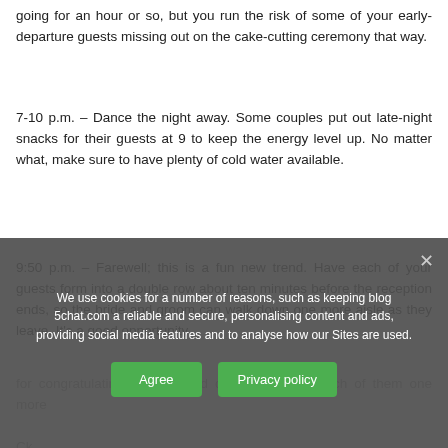going for an hour or so, but you run the risk of some of your early-departure guests missing out on the cake-cutting ceremony that way.
7-10 p.m. – Dance the night away. Some couples put out late-night snacks for their guests at 9 to keep the energy level up. No matter what, make sure to have plenty of cold water available.
9:50 p.m. – Farewell; this is a fun new trend. Have each of your guests form into a double row about ten minutes before the reception ends, so the bride and groom can walk down one more aisle as they leave. It's a good opportunity
for candid hugging and congratulations with...
Remember this celebration is about you, your wedding should be as...
We use cookies for a number of reasons, such as keeping blog 5chat.com a reliable and secure, personalising content and ads, providing social media features and to analyse how our Sites are used.